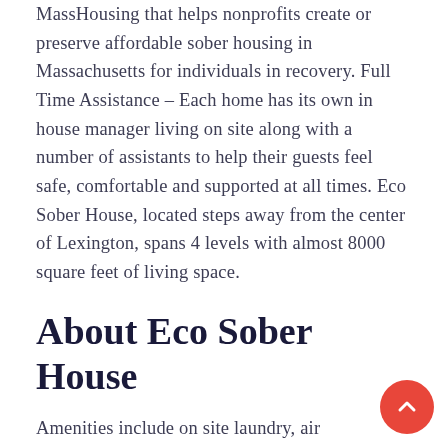MassHousing that helps nonprofits create or preserve affordable sober housing in Massachusetts for individuals in recovery. Full Time Assistance – Each home has its own in house manager living on site along with a number of assistants to help their guests feel safe, comfortable and supported at all times. Eco Sober House, located steps away from the center of Lexington, spans 4 levels with almost 8000 square feet of living space.
About Eco Sober House
Amenities include on site laundry, air conditioning, parking, full kitchens, living/dining rooms and quick access to public transportation. The content displayed in the BusinessYab Directory consists of information from third parties, among others from publicly accessible sources, or from customers, who have a presentation page in our directory. Business cannot be held responsible or liable for the accuracy,